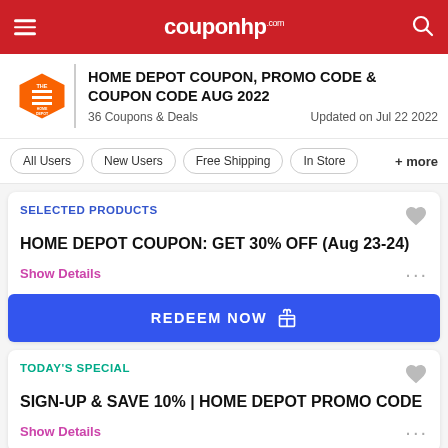couponhp.com
HOME DEPOT COUPON, PROMO CODE & COUPON CODE AUG 2022
36 Coupons & Deals   Updated on Jul 22 2022
All Users
New Users
Free Shipping
In Store
+ more
SELECTED PRODUCTS
HOME DEPOT COUPON: GET 30% OFF (Aug 23-24)
Show Details
REDEEM NOW
TODAY'S SPECIAL
SIGN-UP & SAVE 10% | HOME DEPOT PROMO CODE
Show Details